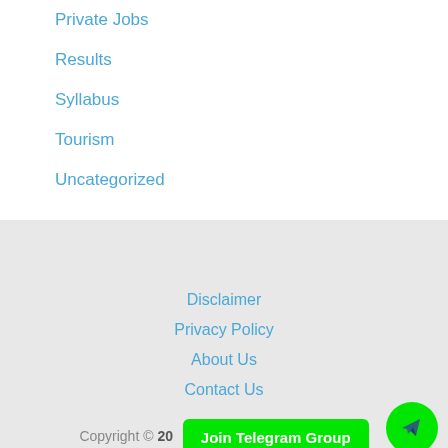Private Jobs
Results
Syllabus
Tourism
Uncategorized
Disclaimer
Privacy Policy
About Us
Contact Us
Copyright © 20...